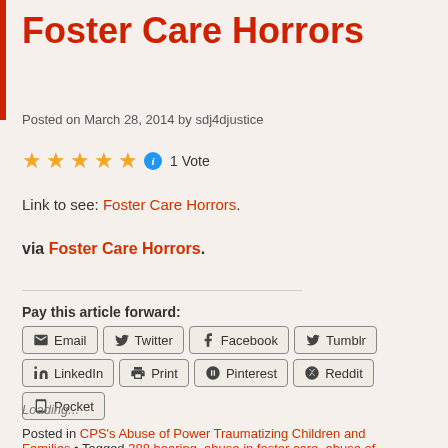Foster Care Horrors
Posted on March 28, 2014 by sdj4djustice
★★★★★ ℹ 1 Vote
Link to see: Foster Care Horrors.
via Foster Care Horrors.
Pay this article forward:
Email  Twitter  Facebook  Tumblr  LinkedIn  Print  Pinterest  Reddit  Pocket
Loading...
Posted in CPS's Abuse of Power Traumatizing Children and Families • Tagged 388 hearing, abuse in foster care, abuse of